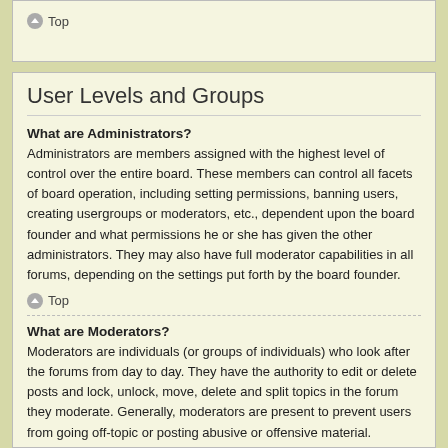Top
User Levels and Groups
What are Administrators?
Administrators are members assigned with the highest level of control over the entire board. These members can control all facets of board operation, including setting permissions, banning users, creating usergroups or moderators, etc., dependent upon the board founder and what permissions he or she has given the other administrators. They may also have full moderator capabilities in all forums, depending on the settings put forth by the board founder.
Top
What are Moderators?
Moderators are individuals (or groups of individuals) who look after the forums from day to day. They have the authority to edit or delete posts and lock, unlock, move, delete and split topics in the forum they moderate. Generally, moderators are present to prevent users from going off-topic or posting abusive or offensive material.
Top